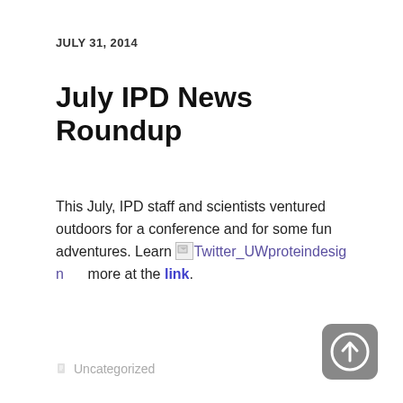JULY 31, 2014
July IPD News Roundup
This July, IPD staff and scientists ventured outdoors for a conference and for some fun adventures. Learn more at the link.
Uncategorized